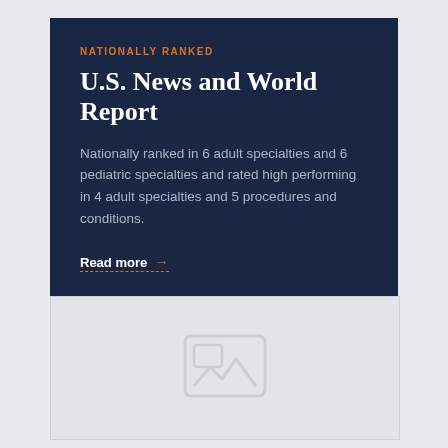NATIONALLY RANKED
U.S. News and World Report
Nationally ranked in 6 adult specialties and 6 pediatric specialties and rated high performing in 4 adult specialties and 5 procedures and conditions.
Read more →
[Figure (illustration): Placeholder image box with a landscape/image icon in light gray on a light gray background]